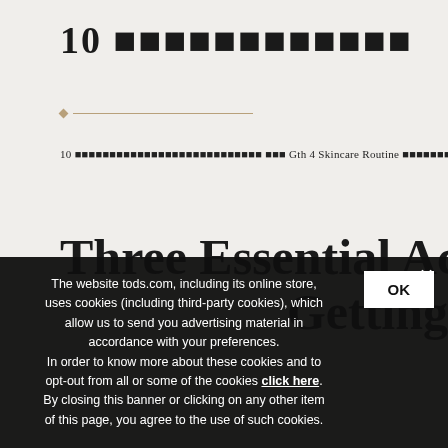10 ■■■■■■■■■■■■
10 ■■■■■■■■■■■■■■■■■■■■■■■■■■■ ■■■ Gth 4 Skincare Routine ■■■■■■■■■■■■■■■■■■■■■■■■■
Three Essential Actions Getting
The website tods.com, including its online store, uses cookies (including third-party cookies), which allow us to send you advertising material in accordance with your preferences. In order to know more about these cookies and to opt-out from all or some of the cookies click here. By closing this banner or clicking on any other item of this page, you agree to the use of such cookies.